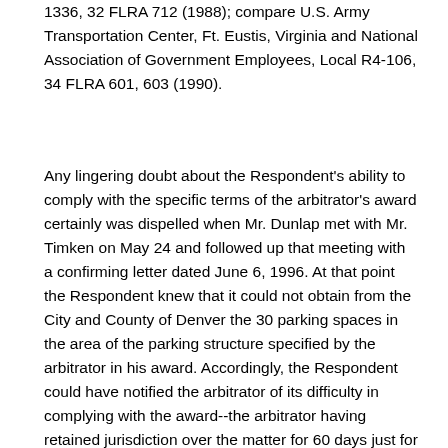1336, 32 FLRA 712 (1988); compare U.S. Army Transportation Center, Ft. Eustis, Virginia and National Association of Government Employees, Local R4-106, 34 FLRA 601, 603 (1990).
Any lingering doubt about the Respondent's ability to comply with the specific terms of the arbitrator's award certainly was dispelled when Mr. Dunlap met with Mr. Timken on May 24 and followed up that meeting with a confirming letter dated June 6, 1996. At that point the Respondent knew that it could not obtain from the City and County of Denver the 30 parking spaces in the area of the parking structure specified by the arbitrator in his award. Accordingly, the Respondent could have notified the arbitrator of its difficulty in complying with the award--the arbitrator having retained jurisdiction over the matter for 60 days just for that purpose--and thereby afforded the arbitrator an opportunity to clarify his award as deemed appropriate. However, the Respondent never contacted the